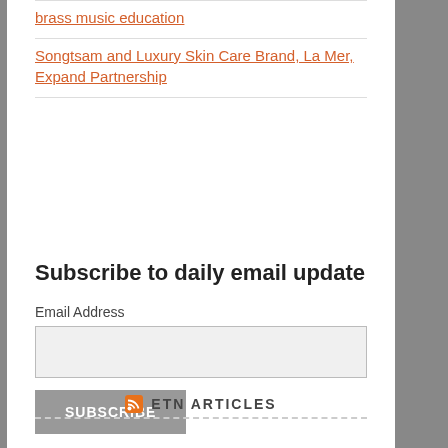brass music education
Songtsam and Luxury Skin Care Brand, La Mer, Expand Partnership
Subscribe to daily email update
Email Address
SUBSCRIBE
ETN ARTICLES